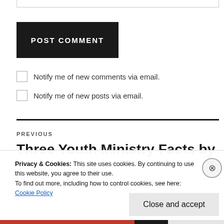POST COMMENT
Notify me of new comments via email.
Notify me of new posts via email.
PREVIOUS
Three Youth Ministry Facts by
Privacy & Cookies: This site uses cookies. By continuing to use this website, you agree to their use.
To find out more, including how to control cookies, see here:
Cookie Policy
Close and accept